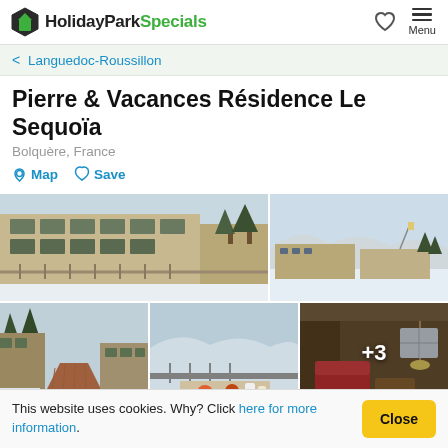HolidayParkSpecials — Menu
< Languedoc-Roussillon
Pierre & Vacances Résidence Le Sequoïa
Bolquère, France
Map   Save
[Figure (photo): Grid of 5 photos showing Pierre & Vacances Résidence Le Sequoïa in snowy winter conditions: exterior views of the apartment building with snow, a wide shot of the resort with ski slopes, a snowy pathway, a balcony with food/drinks, and an interior room view. A '+3' overlay appears on the last photo.]
This website uses cookies. Why? Click here for more information. [Close button]